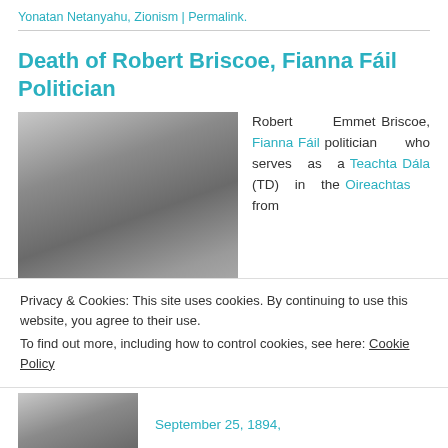Yonatan Netanyahu, Zionism | Permalink.
Death of Robert Briscoe, Fianna Fáil Politician
[Figure (photo): Black and white photograph of Robert Briscoe, an older man in a suit and tie, looking at the camera.]
Robert Emmet Briscoe, Fianna Fáil politician who serves as a Teachta Dála (TD) in the Oireachtas from
Privacy & Cookies: This site uses cookies. By continuing to use this website, you agree to their use.
To find out more, including how to control cookies, see here: Cookie Policy
Close and accept
[Figure (photo): Partially visible black and white photograph at bottom of page.]
September 25, 1894,